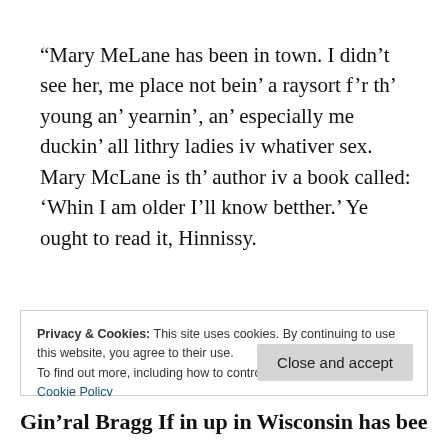“Mary MeLane has been in town. I didn’t see her, me place not bein’ a raysort f’r th’ young an’ yearnin’, an’ especially me duckin’ all lithry ladies iv whativer sex. Mary McLane is th’ author iv a book called: ‘Whin I am older I’ll know betther.’ Ye ought to read it, Hinnissy.
Privacy & Cookies: This site uses cookies. By continuing to use this website, you agree to their use.
To find out more, including how to control cookies, see here:
Cookie Policy
Gin’ral Bragg If in up in Wisconsin has been